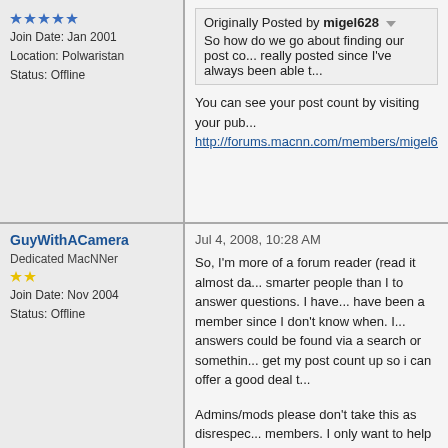Join Date: Jan 2001
Location: Polwaristan
Status: Offline
Originally Posted by migel628
So how do we go about finding our post co... really posted since I've always been able t...
You can see your post count by visiting your pub...
http://forums.macnn.com/members/migel628/
GuyWithACamera
Dedicated MacNNer
Join Date: Nov 2004
Status: Offline
Jul 4, 2008, 10:28 AM
So, I'm more of a forum reader (read it almost da... smarter people than I to answer questions. I have... have been a member since I don't know when. I... answers could be found via a search or somethin... get my post count up so i can offer a good deal t...
Admins/mods please don't take this as disrespect... members. I only want to help by raising question...
Maybe member longevity could play a role as we... questions that may or may not be practical or fea...